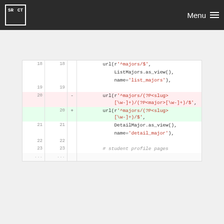SRCT Menu
[Figure (screenshot): Code diff view showing changes to URL patterns in a Django urls.py file. Lines 18-19 show existing url patterns for majors, line 20 is removed (url with slug and major named groups), new line 20 is added (url with only slug named group), lines 21-23 show DetailMajor.as_view(), name='detail_major', and a comment '# student profile pages'.]
Please register or sign in to comment